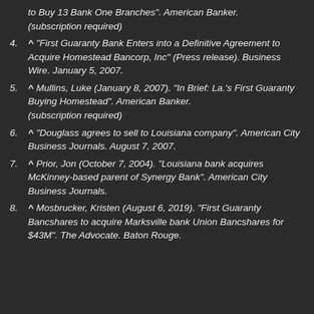to Buy 13 Bank One Branches". American Banker. (subscription required)
4. ^ "First Guaranty Bank Enters into a Definitive Agreement to Acquire Homestead Bancorp, Inc" (Press release). Business Wire. January 5, 2007.
5. ^ Mullins, Luke (January 8, 2007). "In Brief: La.'s First Guaranty Buying Homestead". American Banker. (subscription required)
6. ^ "Douglass agrees to sell to Louisiana company". American City Business Journals. August 7, 2007.
7. ^ Prior, Jon (October 7, 2004). "Louisiana bank acquires McKinney-based parent of Synergy Bank". American City Business Journals.
8. ^ Mosbrucker, Kristen (August 6, 2019). "First Guaranty Bancshares to acquire Marksville bank Union Bancshares for $43M". The Advocate. Baton Rouge.